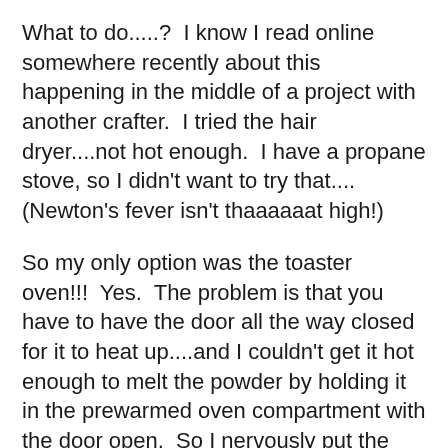What to do.....?  I know I read online somewhere recently about this happening in the middle of a project with another crafter.  I tried the hair dryer....not hot enough.  I have a propane stove, so I didn't want to try that....(Newton's fever isn't thaaaaaat high!)
So my only option was the toaster oven!!!  Yes.  The problem is that you have to have the door all the way closed for it to heat up....and I couldn't get it hot enough to melt the powder by holding it in the prewarmed oven compartment with the door open.  So I nervously put the entire panel inside and pushed down the toaster button, standing ready with my toaster tongs and a glass of water.....just in case!!!  Ha.  I had a false start or two where I opened the door too soon, but the powder finally melted and I didn't even burn the house down!!  It's not really bonded onto the paper perfectly and I DO NOT recommend this technique, but it worked for finishing